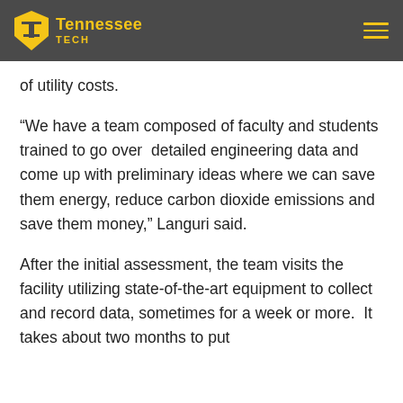Tennessee Tech
of utility costs.
“We have a team composed of faculty and students trained to go over detailed engineering data and come up with preliminary ideas where we can save them energy, reduce carbon dioxide emissions and save them money,” Languri said.
After the initial assessment, the team visits the facility utilizing state-of-the-art equipment to collect and record data, sometimes for a week or more.  It takes about two months to put